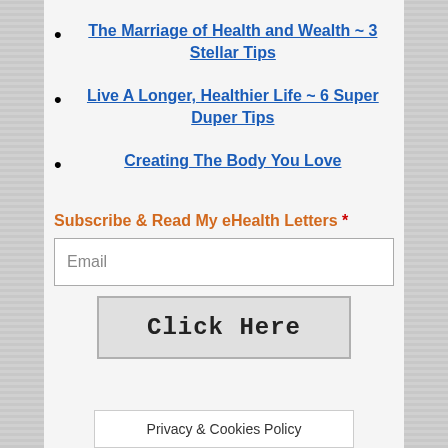The Marriage of Health and Wealth ~ 3 Stellar Tips
Live A Longer, Healthier Life ~ 6 Super Duper Tips
Creating The Body You Love
Subscribe & Read My eHealth Letters *
Email
Click Here
Privacy & Cookies Policy